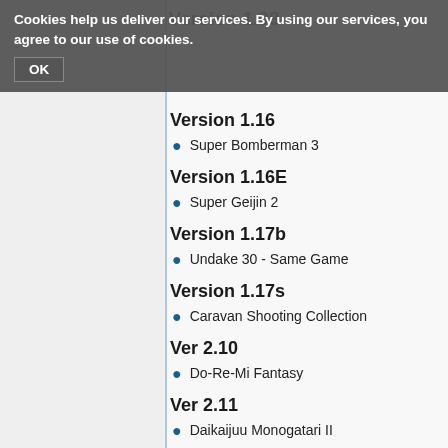Version 1.08
Cookies help us deliver our services. By using our services, you agree to our use of cookies. OK
Version 1.16
Super Bomberman 3
Version 1.16E
Super Geijin 2
Version 1.17b
Undake 30 - Same Game
Version 1.17s
Caravan Shooting Collection
Ver 2.10
Do-Re-Mi Fantasy
Ver 2.11
Daikaijuu Monogatari II